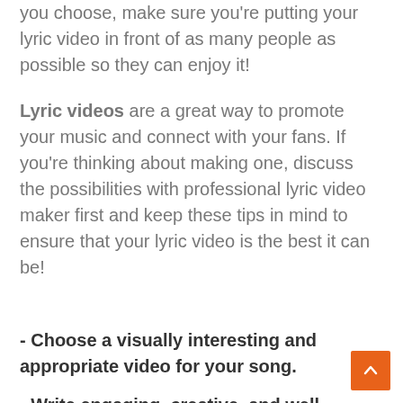you choose, make sure you're putting your lyric video in front of as many people as possible so they can enjoy it!
Lyric videos are a great way to promote your music and connect with your fans. If you're thinking about making one, discuss the possibilities with professional lyric video maker first and keep these tips in mind to ensure that your lyric video is the best it can be!
- Choose a visually interesting and appropriate video for your song.
- Write engaging, creative, and well-